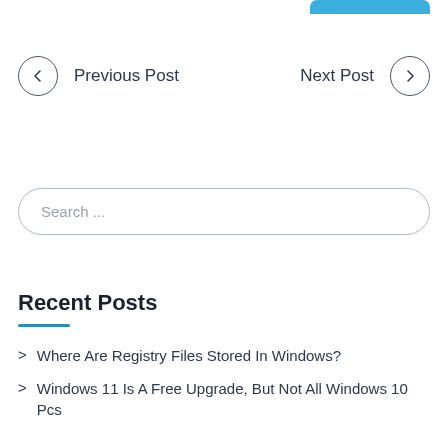Previous Post
Next Post
Search ...
Recent Posts
> Where Are Registry Files Stored In Windows?
> Windows 11 Is A Free Upgrade, But Not All Windows 10 Pcs